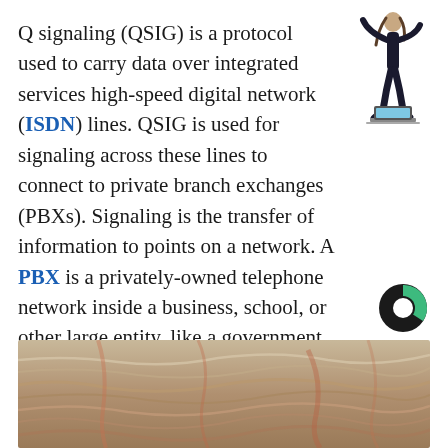Q signaling (QSIG) is a protocol used to carry data over integrated services high-speed digital network (ISDN) lines. QSIG is used for signaling across these lines to connect to private branch exchanges (PBXs). Signaling is the transfer of information to points on a network. A PBX is a privately-owned telephone network inside a business, school, or other large entity, like a government office.
[Figure (illustration): Person doing a handstand with a laptop on the floor beneath them]
[Figure (logo): Circular logo with a green segment, partially visible, resembling the Coursera or similar education platform logo]
[Figure (photo): Close-up photo of textured rock or geological formation with layered patterns in sandy/reddish tones]